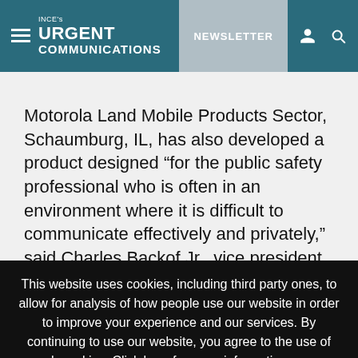INCE's URGENT COMMUNICATIONS | NEWSLETTER
Motorola Land Mobile Products Sector, Schaumburg, IL, has also developed a product designed “for the public safety professional who is often in an environment where it is difficult to communicate effectively and privately,” said Charles Backof Jr., vice president. “Sirens, crowd noise and speeding traffic can interfere with hearing or sending messages.”
This website uses cookies, including third party ones, to allow for analysis of how people use our website in order to improve your experience and our services. By continuing to use our website, you agree to the use of such cookies. Click here for more information on our Cookie Policy and Privacy Policy
Accept and Close × Your browser settings do not allow cross-site tracking for advertising. Click on this page to allow AdRoll to use cross-site tracking to tailor ads to you. Learn more or opt out of this AdRoll tracking by clicking here. This message only appears once.